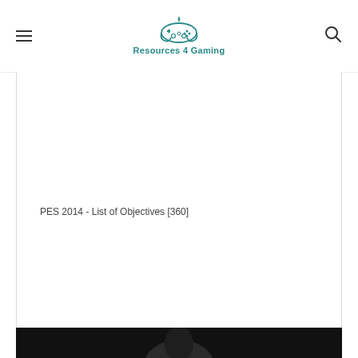Resources 4 Gaming
PES 2014 - List of Objectives [360]
[Figure (photo): Dark image showing a figure at the bottom of the page, appears to be game-related artwork]